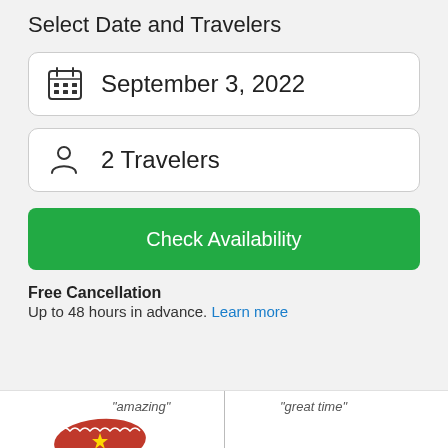Select Date and Travelers
September 3, 2022
2 Travelers
Check Availability
Free Cancellation
Up to 48 hours in advance. Learn more
[Figure (logo): Norton Shopping Guarantee banner with yellow Norton logo section and black 'SHOPPING GUARANTEE' text, with ID Theft Protection, Purchase Guarantee, Lowest Price Guarantee badges below]
"amazing"
"great time"
[Figure (logo): Red badge/seal logo with star]